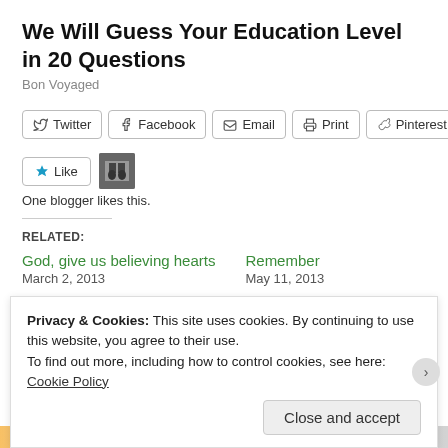We Will Guess Your Education Level in 20 Questions
Bon Voyaged
[Figure (infographic): Social share buttons: Twitter, Facebook, Email, Print, Pinterest]
[Figure (infographic): Like button with star icon and blogger avatar thumbnail]
One blogger likes this.
RELATED:
God, give us believing hearts
March 2, 2013
Remember
May 11, 2013
Privacy & Cookies: This site uses cookies. By continuing to use this website, you agree to their use.
To find out more, including how to control cookies, see here: Cookie Policy
Close and accept